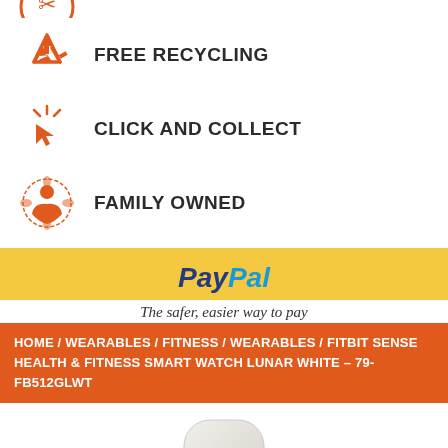FREE RECYCLING
CLICK AND COLLECT
FAMILY OWNED
[Figure (logo): PayPal logo with yellow background]
The safer, easier way to pay
HOME / WEARABLES / FITNESS / WEARABLES / FITBIT SENSE HEALTH & FITNESS SMART WATCH LUNAR WHITE – 79-FB512GLWT
[Figure (photo): Fitbit Sense smartwatch in Lunar White, showing the watch face from above]